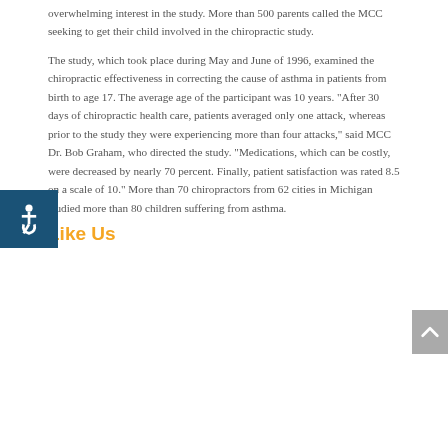overwhelming interest in the study. More than 500 parents called the MCC seeking to get their child involved in the chiropractic study.
The study, which took place during May and June of 1996, examined the chiropractic effectiveness in correcting the cause of asthma in patients from birth to age 17. The average age of the participant was 10 years. "After 30 days of chiropractic health care, patients averaged only one attack, whereas prior to the study they were experiencing more than four attacks," said MCC Dr. Bob Graham, who directed the study. "Medications, which can be costly, were decreased by nearly 70 percent. Finally, patient satisfaction was rated 8.5 on a scale of 10." More than 70 chiropractors from 62 cities in Michigan studied more than 80 children suffering from asthma.
Like Us